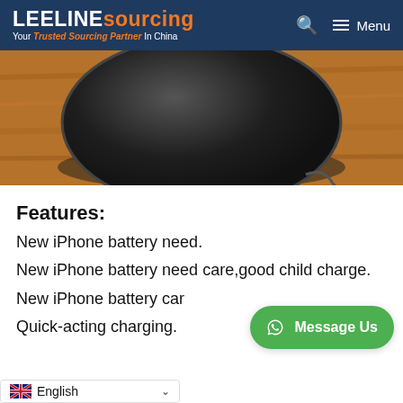LEELINE sourcing — Your Trusted Sourcing Partner In China
[Figure (photo): Wireless charger pad (black, round) on a wooden surface, product photo, partially cropped.]
Features:
New iPhone battery need.
New iPhone battery need care,good child charge.
New iPhone battery care
Quick-acting charging.